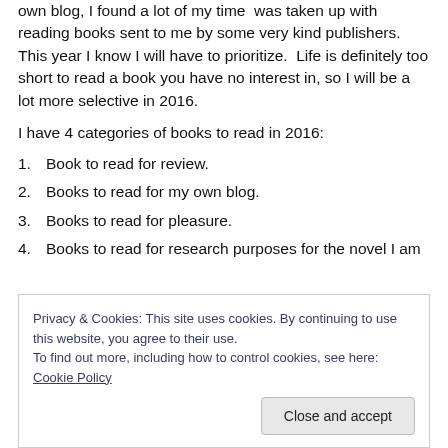own blog, I found a lot of my time was taken up with reading books sent to me by some very kind publishers. This year I know I will have to prioritize. Life is definitely too short to read a book you have no interest in, so I will be a lot more selective in 2016.
I have 4 categories of books to read in 2016:
1. Book to read for review.
2. Books to read for my own blog.
3. Books to read for pleasure.
4. Books to read for research purposes for the novel I am
Privacy & Cookies: This site uses cookies. By continuing to use this website, you agree to their use.
To find out more, including how to control cookies, see here: Cookie Policy
Close and accept